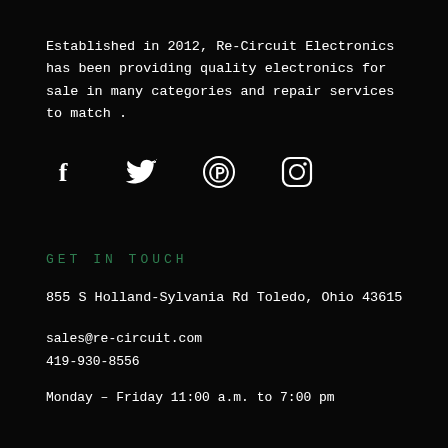Established in 2012, Re-Circuit Electronics has been providing quality electronics for sale in many categories and repair services to match .
[Figure (illustration): Social media icons row: Facebook (f), Twitter (bird), Pinterest (p), Instagram (camera) — white icons on black background]
GET IN TOUCH
855 S Holland-Sylvania Rd Toledo, Ohio 43615
sales@re-circuit.com
419-930-8556
Monday – Friday 11:00 a.m. to 7:00 pm